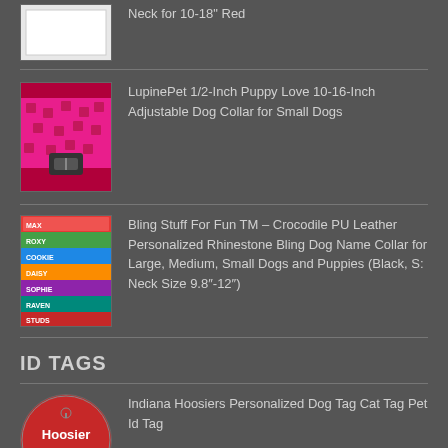[Figure (photo): Partial product image at top, mostly white/empty]
Neck for 10-18" Red
[Figure (photo): Pink/magenta dog collar with heart pattern, LupinePet brand]
LupinePet 1/2-Inch Puppy Love 10-16-Inch Adjustable Dog Collar for Small Dogs
[Figure (photo): Stack of colorful rhinestone bling dog name collars with pet names: MAX, ROXY, SOPHIE, RAVEN, COOKIE, DAISY, STUDS]
Bling Stuff For Fun TM – Crocodile PU Leather Personalized Rhinestone Bling Dog Name Collar for Large, Medium, Small Dogs and Puppies (Black, S: Neck Size 9.8"-12")
ID TAGS
[Figure (photo): Red circular dog tag with text Hoosier and phone number 901-555-1234]
Indiana Hoosiers Personalized Dog Tag Cat Tag Pet Id Tag